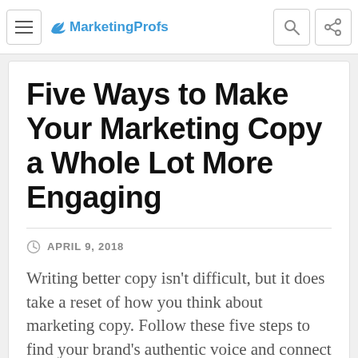MarketingProfs
Five Ways to Make Your Marketing Copy a Whole Lot More Engaging
APRIL 9, 2018
Writing better copy isn't difficult, but it does take a reset of how you think about marketing copy. Follow these five steps to find your brand's authentic voice and connect with customers. Read the full article at